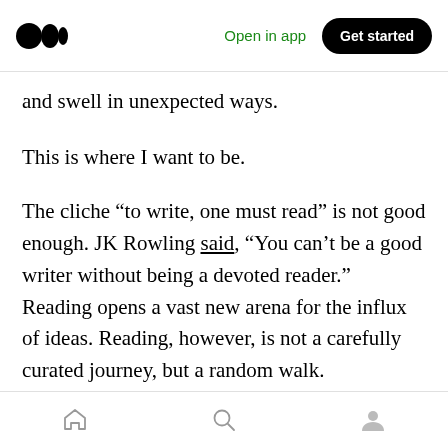Medium app header with logo, Open in app, Get started
and swell in unexpected ways.
This is where I want to be.
The cliche “to write, one must read” is not good enough. JK Rowling said, “You can’t be a good writer without being a devoted reader.” Reading opens a vast new arena for the influx of ideas. Reading, however, is not a carefully curated journey, but a random walk. Randomness is where the most value resides. Ah, so maybe there is an opportunity for a new social media company that focuses on how the human mind grows and
Bottom navigation: home, search, profile